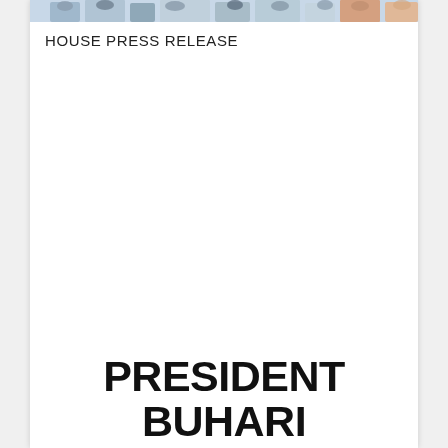[Figure (photo): A color photograph strip showing people in a meeting or official setting, partially cropped at the top of the page.]
HOUSE PRESS RELEASE
PRESIDENT BUHARI